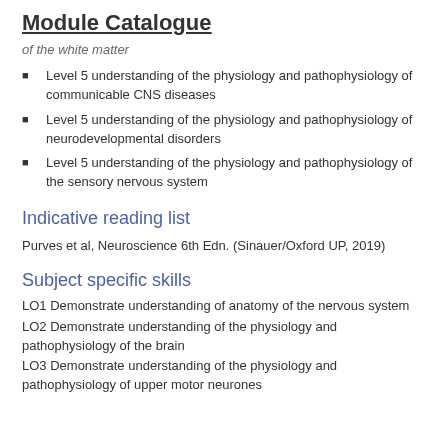Module Catalogue
of the white matter
Level 5 understanding of the physiology and pathophysiology of communicable CNS diseases
Level 5 understanding of the physiology and pathophysiology of neurodevelopmental disorders
Level 5 understanding of the physiology and pathophysiology of the sensory nervous system
Indicative reading list
Purves et al, Neuroscience 6th Edn. (Sinauer/Oxford UP, 2019)
Subject specific skills
LO1 Demonstrate understanding of anatomy of the nervous system
LO2 Demonstrate understanding of the physiology and pathophysiology of the brain
LO3 Demonstrate understanding of the physiology and pathophysiology of upper motor neurones